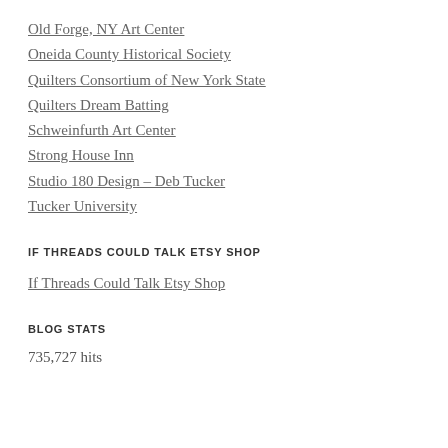Old Forge, NY Art Center
Oneida County Historical Society
Quilters Consortium of New York State
Quilters Dream Batting
Schweinfurth Art Center
Strong House Inn
Studio 180 Design – Deb Tucker
Tucker University
IF THREADS COULD TALK ETSY SHOP
If Threads Could Talk Etsy Shop
BLOG STATS
735,727 hits